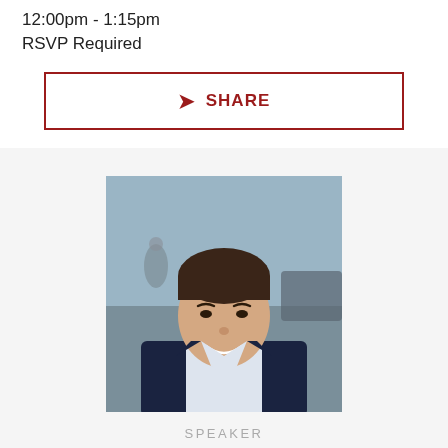12:00pm - 1:15pm
RSVP Required
➤ SHARE
[Figure (photo): Headshot of a young man in a dark suit and white shirt, smiling, photographed outdoors with blurred background]
SPEAKER